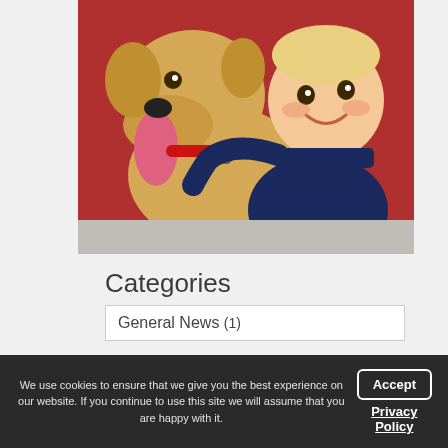[Figure (photo): A young smiling blond boy in a dark navy polo shirt hugging a golden Labrador dog that has its tongue out, in front of a red wooden background.]
Categories
General News (1)
We use cookies to ensure that we give you the best experience on our website. If you continue to use this site we will assume that you are happy with it.